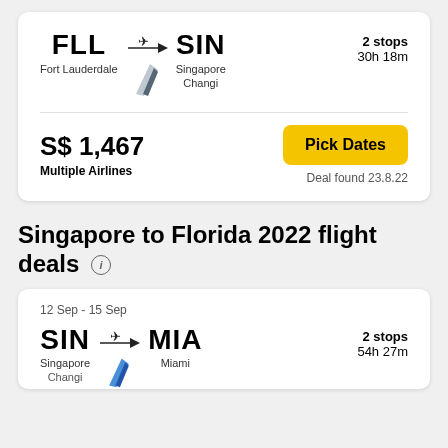[Figure (infographic): Flight deal card: FLL (Fort Lauderdale) to SIN (Singapore Changi), 2 stops, 30h 18m, with airline logo]
S$ 1,467
Multiple Airlines
Pick Dates
Deal found 23.8.22
Singapore to Florida 2022 flight deals
12 Sep - 15 Sep
[Figure (infographic): Flight deal card: SIN (Singapore Changi) to MIA (Miami), 2 stops, 54h 27m, partially visible]